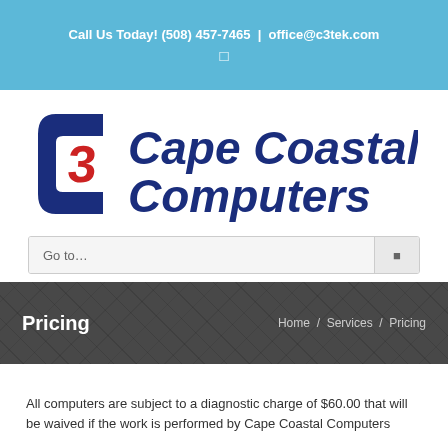Call Us Today! (508) 457-7465  |  office@c3tek.com
[Figure (logo): Cape Coastal Computers logo with stylized C3 in dark blue and red]
Go to...
Pricing
Home / Services / Pricing
All computers are subject to a diagnostic charge of $60.00 that will be waived if the work is performed by Cape Coastal Computers